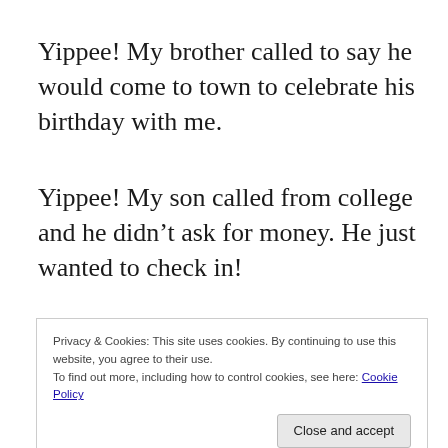Yippee! My brother called to say he would come to town to celebrate his birthday with me.
Yippee! My son called from college and he didn’t ask for money. He just wanted to check in!
Privacy & Cookies: This site uses cookies. By continuing to use this website, you agree to their use.
To find out more, including how to control cookies, see here: Cookie Policy
Close and accept